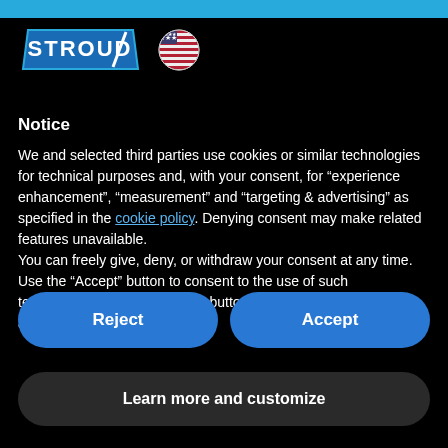[Figure (logo): Stroud logo with blue parallelogram shape and US flag circle icon]
Notice
We and selected third parties use cookies or similar technologies for technical purposes and, with your consent, for “experience enhancement”, “measurement” and “targeting & advertising” as specified in the cookie policy. Denying consent may make related features unavailable.
You can freely give, deny, or withdraw your consent at any time. Use the “Accept” button to consent to the use of such technologies. Use the “Reject” button to continue without accepting.
Reject
Accept
Learn more and customize